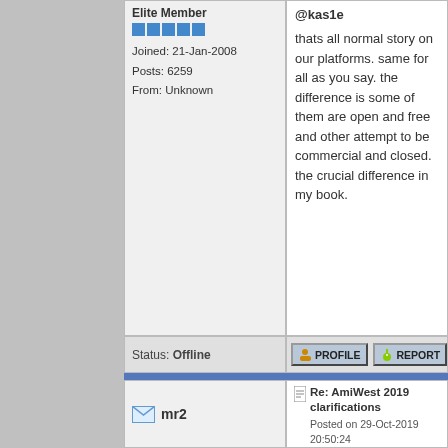Elite Member
Joined: 21-Jan-2008
Posts: 6259
From: Unknown
@kas1e

thats all normal story on our platforms. same for all as you say. the difference is some of them are open and free and other attempt to be commercial and closed. the crucial difference in my book.
Status: Offline
[Figure (other): Profile button with icon]
[Figure (other): Report button with icon]
mr2
Re: AmiWest 2019 clarifications
Posted on 29-Oct-2019 20:50:24
[ #12 ]
[Figure (illustration): Cartoon cow avatar]
Cult Member
Joined: 3-Feb-2004
Posts: 691
From: Poland
@kas1e

He means sth different, IMO. Why so big change in Enhancer version from 1.5 to 2.0 if nothing big comes out. I know what could it be. Several tips appeared from time to time.The newest one is in Trevor's speech during AmiWest but I will not tell because dont want to be